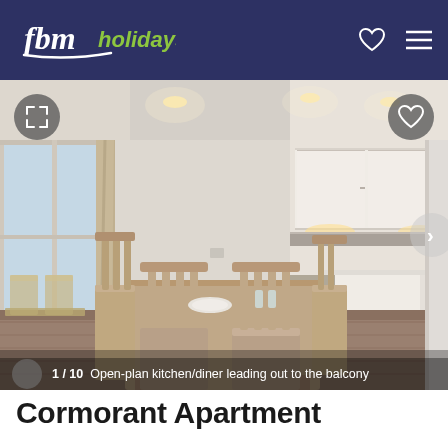fbm holidays
[Figure (photo): Open-plan kitchen/diner with wooden dining table and chairs in foreground, modern white kitchen cabinets and island in background, balcony visible through large glass doors on left, recessed ceiling lights]
1 / 10  Open-plan kitchen/diner leading out to the balcony
Cormorant Apartment